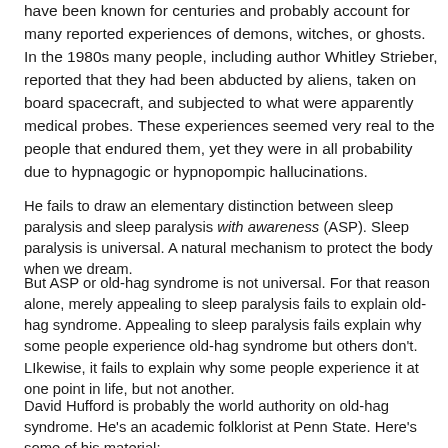have been known for centuries and probably account for many reported experiences of demons, witches, or ghosts. In the 1980s many people, including author Whitley Strieber, reported that they had been abducted by aliens, taken on board spacecraft, and subjected to what were apparently medical probes. These experiences seemed very real to the people that endured them, yet they were in all probability due to hypnagogic or hypnopompic hallucinations.
He fails to draw an elementary distinction between sleep paralysis and sleep paralysis with awareness (ASP). Sleep paralysis is universal. A natural mechanism to protect the body when we dream.
But ASP or old-hag syndrome is not universal. For that reason alone, merely appealing to sleep paralysis fails to explain old-hag syndrome. Appealing to sleep paralysis fails explain why some people experience old-hag syndrome but others don't. LIkewise, it fails to explain why some people experience it at one point in life, but not another.
David Hufford is probably the world authority on old-hag syndrome. He's an academic folklorist at Penn State. Here's some of his material: